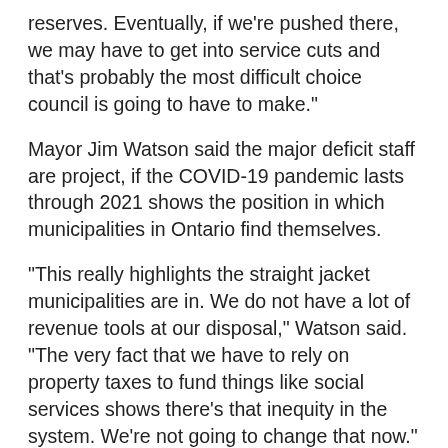reserves. Eventually, if we're pushed there, we may have to get into service cuts and that's probably the most difficult choice council is going to have to make."
Mayor Jim Watson said the major deficit staff are project, if the COVID-19 pandemic lasts through 2021 shows the position in which municipalities in Ontario find themselves.
"This really highlights the straight jacket municipalities are in. We do not have a lot of revenue tools at our disposal," Watson said. "The very fact that we have to rely on property taxes to fund things like social services shows there's that inequity in the system. We're not going to change that now."
He said that support from other levels of government during the pandemic is crucial.
"We couldn't do what we're doing now, in terms of all the extra work as a result of COVID-19, if we didn't have that